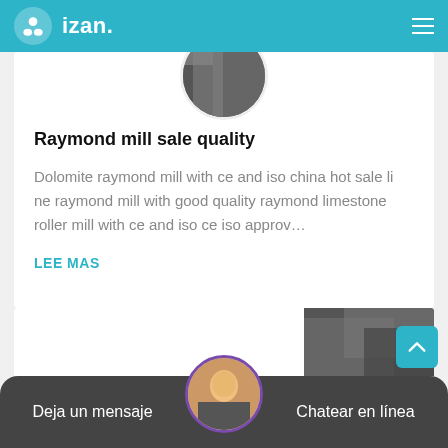izan.
[Figure (photo): Circular cropped industrial/machinery photo at top of card]
Raymond mill sale quality
Dolomite raymond mill with ce and iso china hot sale li ne raymond mill with good quality raymond limestone roller mill with ce and iso ce iso approv…
LEE MAS
[Figure (photo): Preview of next card with industrial/machinery photo on right side]
Deja un mensaje   Chatear en línea